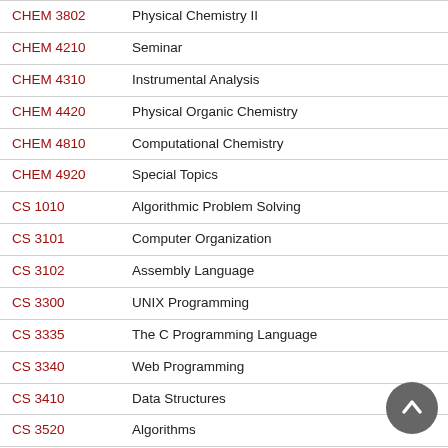| Course Code | Course Name |
| --- | --- |
| CHEM 3802 | Physical Chemistry II |
| CHEM 4210 | Seminar |
| CHEM 4310 | Instrumental Analysis |
| CHEM 4420 | Physical Organic Chemistry |
| CHEM 4810 | Computational Chemistry |
| CHEM 4920 | Special Topics |
| CS 1010 | Algorithmic Problem Solving |
| CS 3101 | Computer Organization |
| CS 3102 | Assembly Language |
| CS 3300 | UNIX Programming |
| CS 3335 | The C Programming Language |
| CS 3340 | Web Programming |
| CS 3410 | Data Structures |
| CS 3520 | Algorithms |
| CS 4121 | Data Communications and Networks I |
| CS 4122 | Data Communications and Networks II |
| CS 4321 | Software Engineering I |